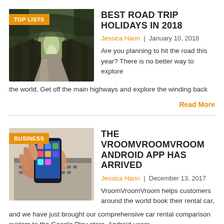[Figure (photo): Tree-lined road tunnel with arching dark trees, viewed from below, leading into the distance. Orange badge 'TOP LISTS' overlaid top-left.]
BEST ROAD TRIP HOLIDAYS IN 2018
Jessica Hann  |  January 10, 2018
Are you planning to hit the road this year? There is no better way to explore the world. Get off the main highways and explore the winding back
Read More
[Figure (photo): Hands holding a smartphone, with a laptop keyboard visible in the background. Orange badge 'BUSINESS' overlaid top-left.]
THE VROOMVROOMVROOM ANDROID APP HAS ARRIVED
Jessica Hann  |  December 13, 2017
VroomVroomVroom helps customers around the world book their rental car, and we have just brought our comprehensive car rental comparison system to the Google Play store. Android users
Read More